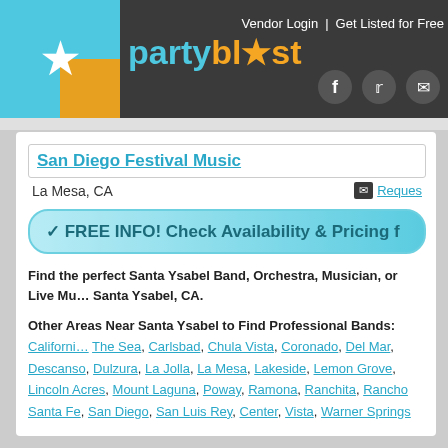partyblast | Vendor Login | Get Listed for Free
San Diego Festival Music
La Mesa, CA
✓ FREE INFO! Check Availability & Pricing f…
Find the perfect Santa Ysabel Band, Orchestra, Musician, or Live Mu… Santa Ysabel, CA.
Other Areas Near Santa Ysabel to Find Professional Bands: Californi… The Sea, Carlsbad, Chula Vista, Coronado, Del Mar, Descanso, Dulzura, La Jolla, La Mesa, Lakeside, Lemon Grove, Lincoln Acres, Mount Laguna, Poway, Ramona, Ranchita, Rancho Santa Fe, San Diego, San Luis Rey, Center, Vista, Warner Springs